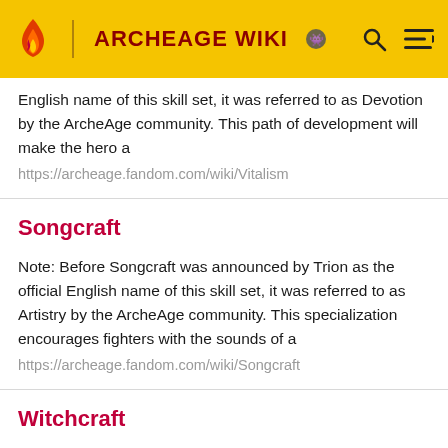ARCHEAGE WIKI
English name of this skill set, it was referred to as Devotion by the ArcheAge community. This path of development will make the hero a
https://archeage.fandom.com/wiki/Vitalism
Songcraft
Note: Before Songcraft was announced by Trion as the official English name of this skill set, it was referred to as Artistry by the ArcheAge community. This specialization encourages fighters with the sounds of a
https://archeage.fandom.com/wiki/Songcraft
Witchcraft
Note: Before Witchcraft was announced by Trion as the official English name of this skill set, it was referred to as Conjury by the ArcheAge community. Skills of the school directly affect the mind of